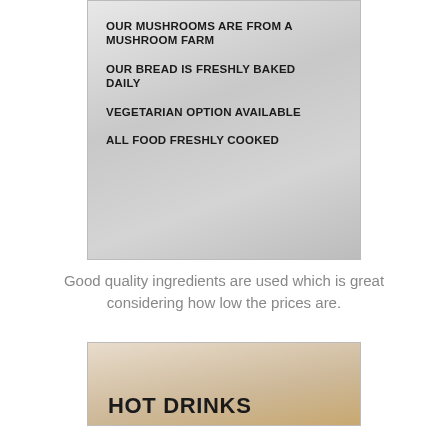[Figure (photo): Photo of a menu sign listing: OUR MUSHROOMS ARE FROM A MUSHROOM FARM, OUR BREAD IS FRESHLY BAKED DAILY, VEGETARIAN OPTION AVAILABLE, ALL FOOD FRESHLY COOKED]
Good quality ingredients are used which is great considering how low the prices are.
[Figure (photo): Photo showing a menu board with HOT DRINKS text]